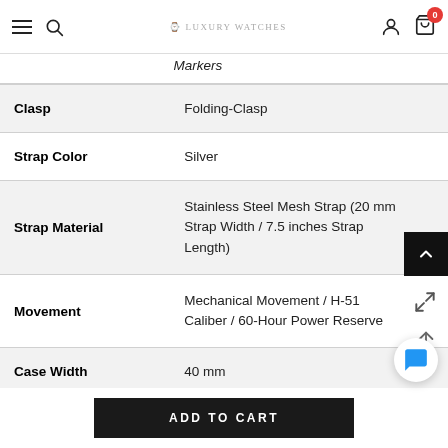Navigation bar with hamburger menu, search, logo, account icon, cart (0)
| Attribute | Value |
| --- | --- |
| Markers |  |
| Clasp | Folding-Clasp |
| Strap Color | Silver |
| Strap Material | Stainless Steel Mesh Strap (20 mm Strap Width / 7.5 inches Strap Length) |
| Movement | Mechanical Movement / H-51 Caliber / 60-Hour Power Reserve |
| Case Width | 40 mm |
| Water- | 100 meters |
ADD TO CART